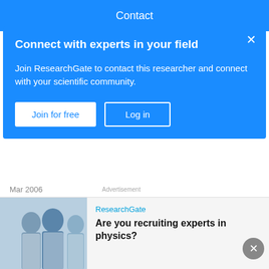Contact
Connect with experts in your field
Join ResearchGate to contact this researcher and connect with your scientific community.
Join for free   Log in
Mar 2006
Chien-Tsai Liu · Pei-Tun Yang · Yu-Ting Yeh · Bin-Long Wang
To investigate the impacts of the first phase of Taiwan's Bureau of National Health Insurance (TBNHI) smart card project on existing hospital information systems. TBNHI has launched a nationwide project for replacement of its current paper-based health
[Figure (photo): Photo of people in lab coats (scientists/researchers)]
ResearchGate
Are you recruiting experts in physics?